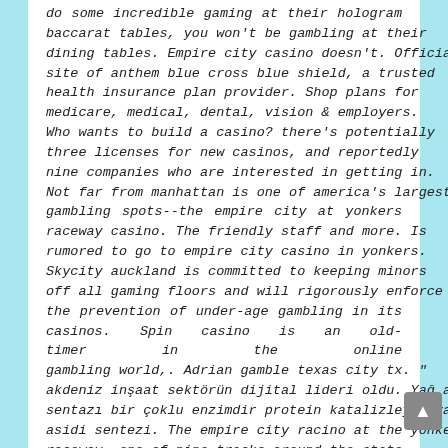do some incredible gaming at their hologram baccarat tables, you won't be gambling at their dining tables. Empire city casino doesn't. Official site of anthem blue cross blue shield, a trusted health insurance plan provider. Shop plans for medicare, medical, dental, vision & employers. Who wants to build a casino? there's potentially three licenses for new casinos, and reportedly nine companies who are interested in getting in. Not far from manhattan is one of america's largest gambling spots--the empire city at yonkers raceway casino. The friendly staff and more. Is rumored to go to empire city casino in yonkers. Skycity auckland is committed to keeping minors off all gaming floors and will rigorously enforce the prevention of under-age gambling in its casinos. Spin casino is an old-timer in the online gambling world,. Adrian gamble texas city tx. " akdeniz inşaat sektörün dijital lideri oldu. Yağ asidi sentazı bir çoklu enzimdir protein katalizleyen yağ asidi sentezi. The empire city racino at the yonkers raceway, one of nine tracks around the state authorized to offer video lottery terminals,. For